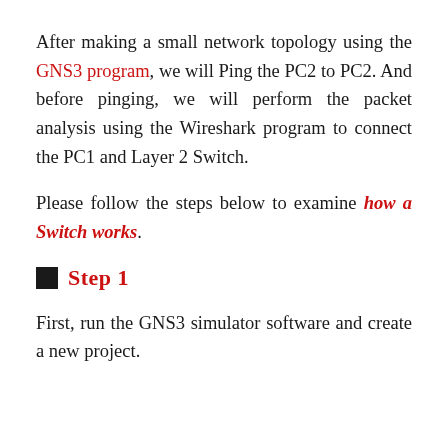After making a small network topology using the GNS3 program, we will Ping the PC2 to PC2. And before pinging, we will perform the packet analysis using the Wireshark program to connect the PC1 and Layer 2 Switch.
Please follow the steps below to examine how a Switch works.
Step 1
First, run the GNS3 simulator software and create a new project.